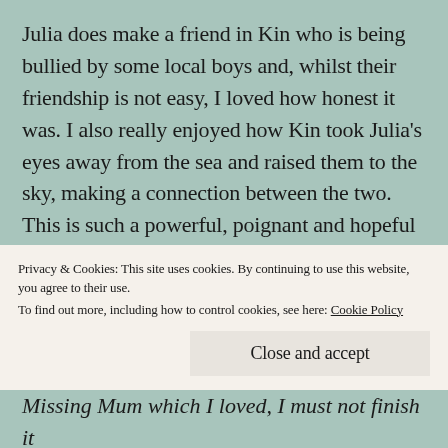Julia does make a friend in Kin who is being bullied by some local boys and, whilst their friendship is not easy, I loved how honest it was. I also really enjoyed how Kin took Julia's eyes away from the sea and raised them to the sky, making a connection between the two. This is such a powerful, poignant and hopeful story, filled with the lyricism that permeates in Kiran's stories. A story of family survival in the face of mental health issues, of friendship and of
Privacy & Cookies: This site uses cookies. By continuing to use this website, you agree to their use.
To find out more, including how to control cookies, see here: Cookie Policy
Missing Mum which I loved, I must not finish it